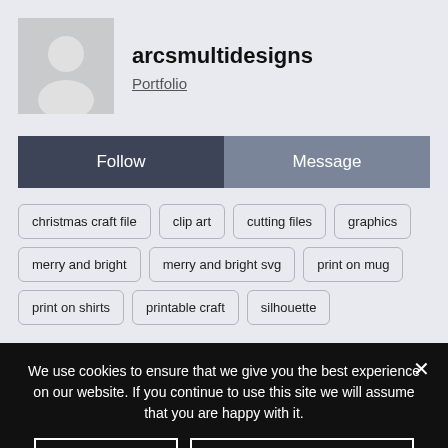[Figure (illustration): User avatar placeholder icon — gray silhouette of a person on light gray background]
arcsmultidesigns
Portfolio
Follow
Message
christmas craft file
clip art
cutting files
graphics
merry and bright
merry and bright svg
print on mug
print on shirts
printable craft
silhouette
We use cookies to ensure that we give you the best experience on our website. If you continue to use this site we will assume that you are happy with it.
Ok
Privacy policy